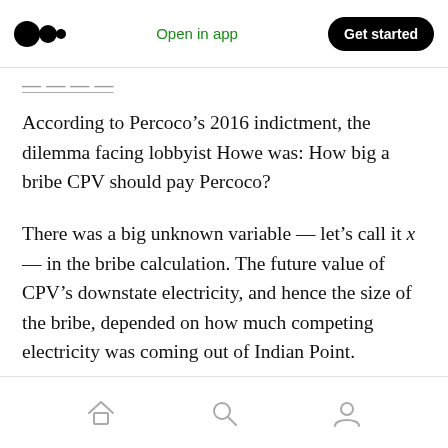Open in app  Get started
According to Percoco’s 2016 indictment, the dilemma facing lobbyist Howe was: How big a bribe CPV should pay Percoco?
There was a big unknown variable — let’s call it x — in the bribe calculation. The future value of CPV’s downstate electricity, and hence the size of the bribe, depended on how much competing electricity was coming out of Indian Point.
If Indian Point were to go away…